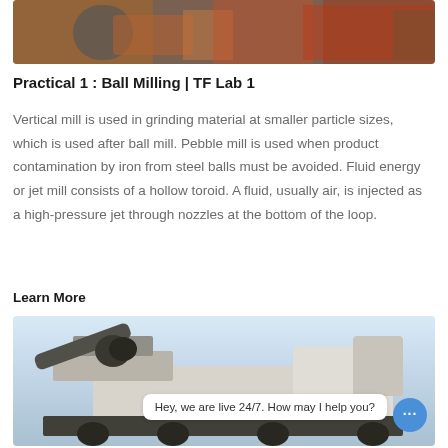[Figure (photo): Photo of industrial milling/crushing equipment with dump trucks and machinery, rust-orange colored]
Practical 1 : Ball Milling | TF Lab 1
Vertical mill is used in grinding material at smaller particle sizes, which is used after ball mill. Pebble mill is used when product contamination by iron from steel balls must be avoided. Fluid energy or jet mill consists of a hollow toroid. A fluid, usually air, is injected as a high-pressure jet through nozzles at the bottom of the loop.
Learn More
[Figure (photo): Photo of a large white mobile crushing/screening plant on a trailer with a chat bubble overlay reading 'Hey, we are live 24/7. How may I help you?']